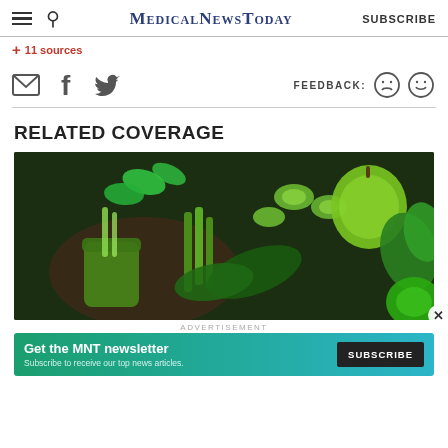MedicalNewsToday — SUBSCRIBE
+ 11 sources
FEEDBACK:
RELATED COVERAGE
[Figure (photo): Overhead view of green vegetables and smoothie: asparagus, cucumber slices, apple, spinach, mint, parsley, and a green smoothie in a jar on a dark surface.]
ADVERTISEMENT
Get the MNT newsletter — Subscribe to receive our top news articles. SUBSCRIBE